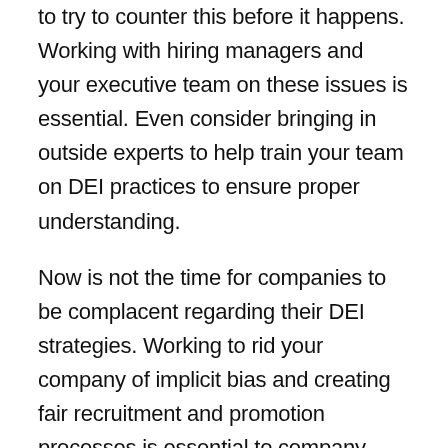to try to counter this before it happens. Working with hiring managers and your executive team on these issues is essential. Even consider bringing in outside experts to help train your team on DEI practices to ensure proper understanding.
Now is not the time for companies to be complacent regarding their DEI strategies. Working to rid your company of implicit bias and creating fair recruitment and promotion processes is essential to company performance. It will help you achieve greater heights as a business, improving your employees' work performance, and teamwork along the way.